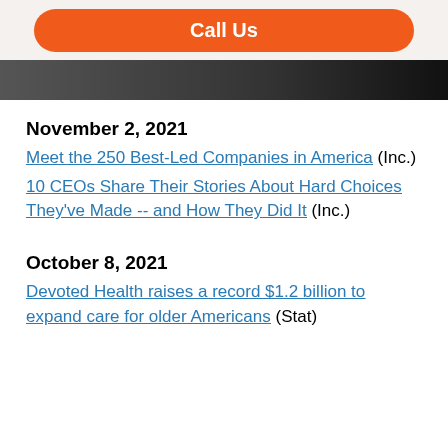[Figure (other): Orange 'Call Us' button on a light beige background]
[Figure (photo): A dark photograph strip visible at the top]
November 2, 2021
Meet the 250 Best-Led Companies in America (Inc.)
10 CEOs Share Their Stories About Hard Choices They've Made -- and How They Did It (Inc.)
October 8, 2021
Devoted Health raises a record $1.2 billion to expand care for older Americans (Stat)